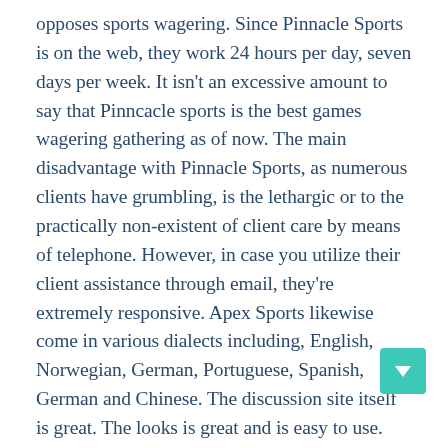opposes sports wagering. Since Pinnacle Sports is on the web, they work 24 hours per day, seven days per week. It isn't an excessive amount to say that Pinncacle sports is the best games wagering gathering as of now. The main disadvantage with Pinnacle Sports, as numerous clients have grumbling, is the lethargic or to the practically non-existent of client care by means of telephone. However, in case you utilize their client assistance through email, they're extremely responsive. Apex Sports likewise come in various dialects including, English, Norwegian, German, Portuguese, Spanish, German and Chinese. The discussion site itself is great. The looks is great and is easy to use. The capacities is exceptionally straightforward. Basically, it is exceptionally simple to wager through Pinnacle Sports. They likewise have numerous strategies for stores and withdrawals to guarantee that you can benefit of their administrations. You can now utilizing one of those